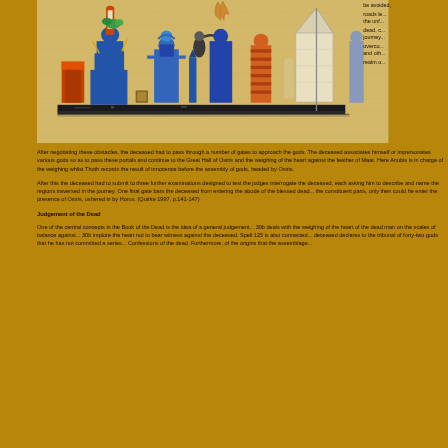[Figure (photo): Egyptian Book of the Dead papyrus illustration showing seated figure of Osiris and other deities with hieroglyphic imagery in blue, red, and orange tones on papyrus background]
be avoided, roads lead the unf... dead, c... journey... overco... and oth... realm o...
After negotiating these obstacles, the deceased had to pass through a number of gates to approach the gods. The deceased associates himself or impersonates various gods so as to pass these portals and continue to the Great Hall of Osiris and the weighing of the heart against the feather of Maat. Here Anubis is in charge of the weighing whilst Thoth records the result of innocence before the assembly of gods, headed by Osiris.
After this the deceased had to submit to three further examinations designed to test the judges interrogate the deceased, each asking him to describe and name the regions traversed in the journey. One final gate bars the deceased from entering the abode of the blessed dead... the constituent parts, only then could he enter the presence of Osiris, ushered in by Horus. (Quirke 1997, p.141-147)
Judgement of the Dead
One of the central concepts in the Book of the Dead is the idea of a general judgement... 30b deals with the weighing of the heart of the dead man on the scales of balance against... 30b implore the heart not to bear witness against the deceased. Spell 125 is also connected... deceased declares to the tribunal of forty-two gods that he has not committed a series... Confessions of the dead. Furthermore, of the origins that the assemblage...